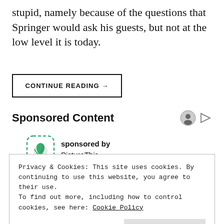stupid, namely because of the questions that Springer would ask his guests, but not at the low level it is today.
CONTINUE READING →
Sponsored Content
[Figure (logo): PictureThis sponsored logo — green plant icon with dashed rounded-square border]
sponsored by
PictureThis
Privacy & Cookies: This site uses cookies. By continuing to use this website, you agree to their use.
To find out more, including how to control cookies, see here: Cookie Policy
Close and accept